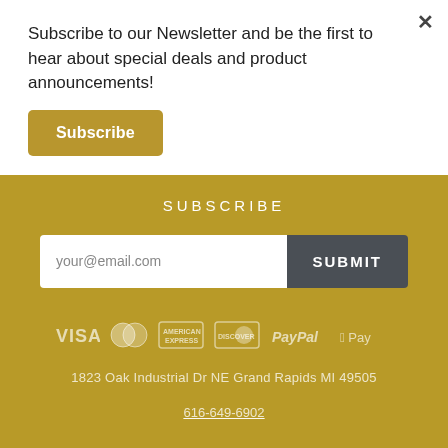Subscribe to our Newsletter and be the first to hear about special deals and product announcements!
Subscribe
SUBSCRIBE
your@email.com
SUBMIT
[Figure (logo): Payment method logos: VISA, MasterCard, American Express, Discover, PayPal, Apple Pay]
1823 Oak Industrial Dr NE Grand Rapids MI 49505
616-649-6902